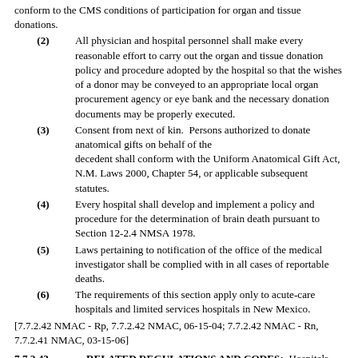conform to the CMS conditions of participation for organ and tissue donations.
(2) All physician and hospital personnel shall make every reasonable effort to carry out the organ and tissue donation policy and procedure adopted by the hospital so that the wishes of a donor may be conveyed to an appropriate local organ procurement agency or eye bank and the necessary donation documents may be properly executed.
(3) Consent from next of kin. Persons authorized to donate anatomical gifts on behalf of the decedent shall conform with the Uniform Anatomical Gift Act, N.M. Laws 2000, Chapter 54, or applicable subsequent statutes.
(4) Every hospital shall develop and implement a policy and procedure for the determination of brain death pursuant to Section 12-2.4 NMSA 1978.
(5) Laws pertaining to notification of the office of the medical investigator shall be complied with in all cases of reportable deaths.
(6) The requirements of this section apply only to acute-care hospitals and limited services hospitals in New Mexico.
[7.7.2.42 NMAC - Rp, 7.7.2.42 NMAC, 06-15-04; 7.7.2.42 NMAC - Rn, 7.7.2.41 NMAC, 03-15-06]
7.7.2.43 RELATED REGULATIONS AND CODES: Hospitals subject to these requirements are also subject to other regulations, codes and standards as the same may from time to time be amended as follows:
A. Health Facility Licensure Fees and Procedures, New Mexico department of health, 7 NMAC 1.7 (10-31-96). [7.1.7 NMAC]
B. Health Facility Sanctions and Civil Monetary Penalties, 7 NMAC 1.8 (10-31-96) [Recompiled as 7.1.8 NMAC]
C. Adjudicatory Hearings, New Mexico department of health, 7 NMAC 1.2 (2-1-96). [Recompiled as 7.1.2 NMAC]